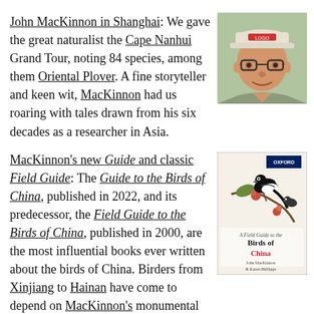John MacKinnon in Shanghai: We gave the great naturalist the Cape Nanhui Grand Tour, noting 84 species, among them Oriental Plover. A fine storyteller and keen wit, MacKinnon had us roaring with tales drawn from his six decades as a researcher in Asia.
[Figure (photo): Portrait photo of John MacKinnon, an older man wearing glasses and a white cap with red writing, smiling, outdoors.]
MacKinnon's new Guide and classic Field Guide: The Guide to the Birds of China, published in 2022, and its predecessor, the Field Guide to the Birds of China, published in 2000, are the most influential books ever written about the birds of China. Birders from Xinjiang to Hainan have come to depend on MacKinnon's monumental works.
[Figure (illustration): Cover of the book 'A Field Guide to the Birds of China' by John MacKinnon and Karen Phillipps, published by Oxford University Press, featuring an illustrated bird on a branch with flowers.]